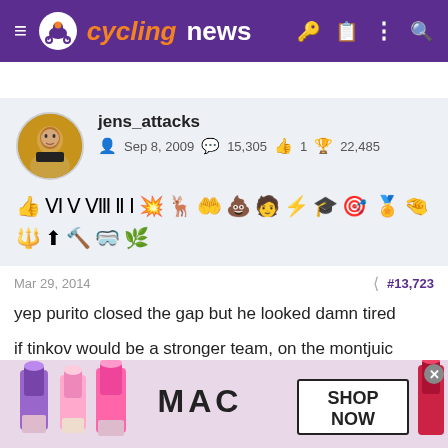cyclingnews
jens_attacks
Sep 8, 2009  15,305  1  22,485
[Figure (other): Row of emoji/badge icons for user achievements]
Mar 29, 2014  #13,723
yep purito closed the gap but he looked damn tired

if tinkov would be a stronger team, on the montjuic circuit, alberto could steal purito's race. he needs the race to be tough as hell. it
[Figure (photo): MAC cosmetics advertisement showing lipsticks with SHOP NOW button]